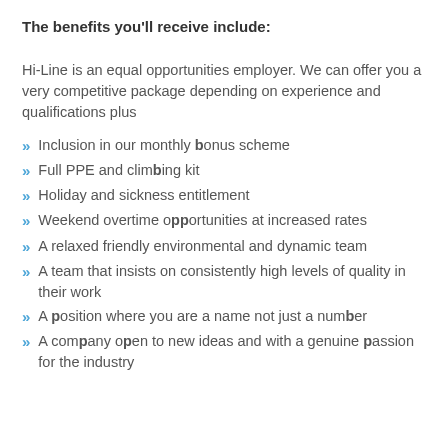The benefits you'll receive include:
Hi-Line is an equal opportunities employer.  We can offer you a very competitive package depending on experience and qualifications plus
Inclusion in our monthly bonus scheme
Full PPE and climbing kit
Holiday and sickness entitlement
Weekend overtime opportunities at increased rates
A relaxed friendly environmental and dynamic team
A team that insists on consistently high levels of quality in their work
A position where you are a name not just a number
A company open to new ideas and with a genuine passion for the industry